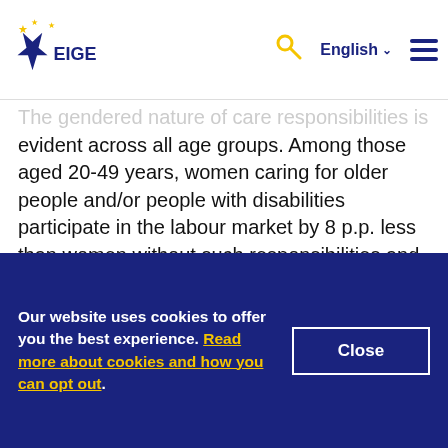EIGE - European Institute for Gender Equality
The gendered nature of care responsibilities is evident across all age groups. Among those aged 20-49 years, women caring for older people and/or people with disabilities participate in the labour market by 8 p.p. less than women without such responsibilities and by 19 p.p. less than men carers. Men's employment rate in this age group is high, regardless of their involvement in informal care (Figure 42).
Our website uses cookies to offer you the best experience. Read more about cookies and how you can opt out.